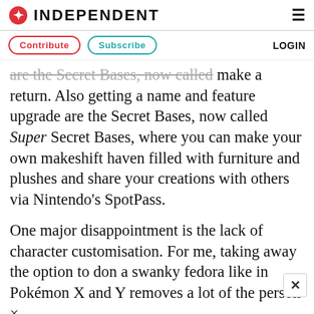INDEPENDENT
Contribute   Subscribe   LOGIN
are the Secret Bases, now called Super Secret Bases, where you can make your own makeshift haven filled with furniture and plushes and share your creations with others via Nintendo's SpotPass.
One major disappointment is the lack of character customisation. For me, taking away the option to don a swanky fedora like in Pokémon X and Y removes a lot of the person